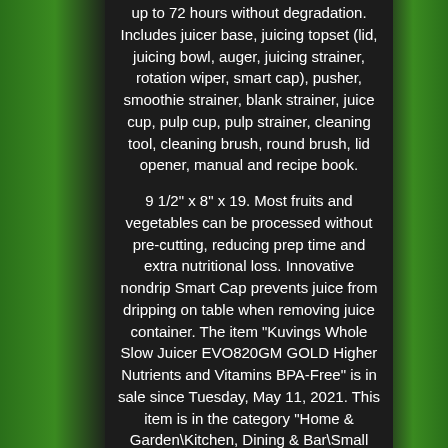up to 72 hours without degradation. Includes juicer base, juicing topset (lid, juicing bowl, auger, juicing strainer, rotation wiper, smart cap), pusher, smoothie strainer, blank strainer, juice cup, pulp cup, pulp strainer, cleaning tool, cleaning brush, round brush, lid opener, manual and recipe book.
9 1/2" x 8" x 19. Most fruits and vegetables can be processed without pre-cutting, reducing prep time and extra nutritional loss. Innovative nondrip Smart Cap prevents juice from dripping on table when removing juice container. The item "Kuvings Whole Slow Juicer EVO820GM GOLD Higher Nutrients and Vitamins BPA-Free" is in sale since Tuesday, May 11, 2021. This item is in the category "Home & Garden\Kitchen, Dining & Bar\Small Kitchen Appliances\Juicers".
The seller is "saywhatdeals" and is located in Phoenix, Arizona. This item can be shipped to